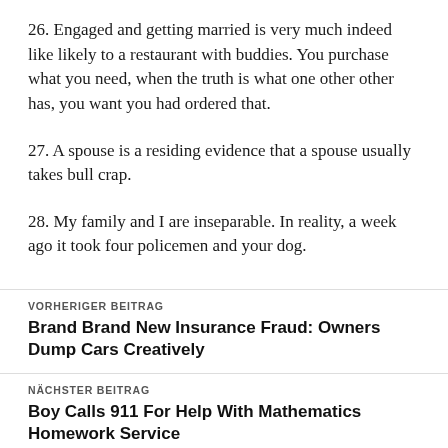26. Engaged and getting married is very much indeed like likely to a restaurant with buddies. You purchase what you need, when the truth is what one other other has, you want you had ordered that.
27. A spouse is a residing evidence that a spouse usually takes bull crap.
28. My family and I are inseparable. In reality, a week ago it took four policemen and your dog.
VORHERIGER BEITRAG
Brand Brand New Insurance Fraud: Owners Dump Cars Creatively
NÄCHSTER BEITRAG
Boy Calls 911 For Help With Mathematics Homework Service